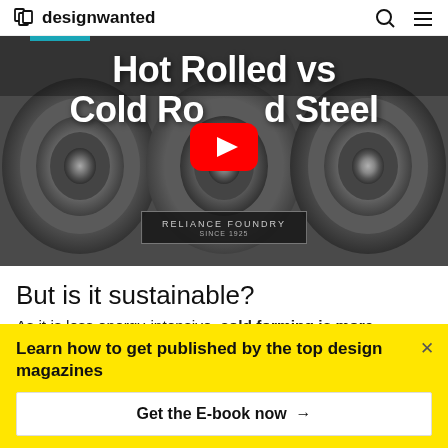designwanted
[Figure (screenshot): YouTube video thumbnail showing steel coils with white bold text 'Hot Rolled vs Cold Rolled Steel' and a red YouTube play button in the center. A dark badge reads 'RELIANCE FOUNDRY SINCE 1925'.]
But is it sustainable?
As it is less energy-intensive, cold forming is more
Learn how to get published by the top design magazines
Get the E-book now →